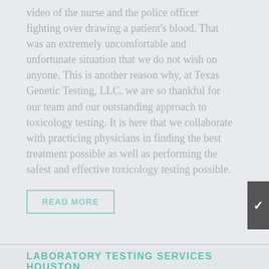video of the nurse and the police officer fighting over drawing a patient's blood. That was an extremely uncomfortable and unfortunate situation that we do not wish on anyone. This is another reason why, at Texas Genetic Testing, LLC. we are so thankful for our team and our outstanding approach to toxicology testing. It is here that we collaborate with practicing physicians in finding the best treatment possible as well as performing the safest and effective toxicology testing possible.
READ MORE
LABORATORY TESTING SERVICES HOUSTON